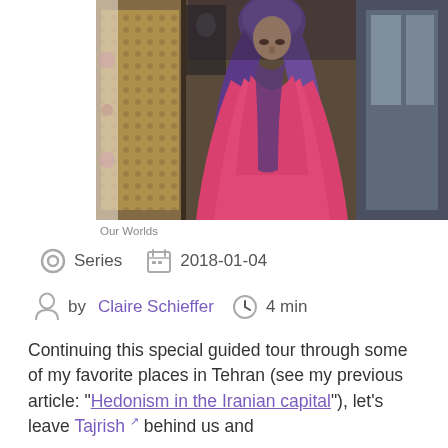[Figure (photo): A woman wearing a pink top/cape and purple headscarf/hijab, looking downward, standing in front of a shop window or doorway.]
Our Worlds
Series   2018-01-04
by Claire Schieffer   4 min
Continuing this special guided tour through some of my favorite places in Tehran (see my previous article: "Hedonism in the Iranian capital"), let's leave Tajrish behind us and